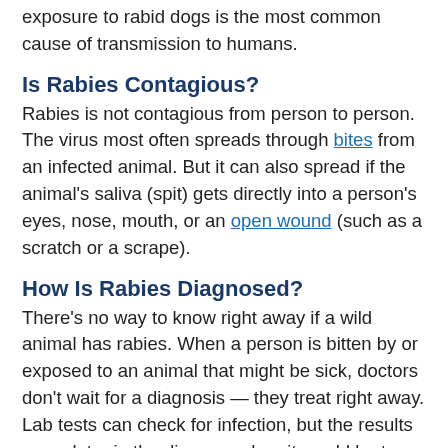exposure to rabid dogs is the most common cause of transmission to humans.
Is Rabies Contagious?
Rabies is not contagious from person to person. The virus most often spreads through bites from an infected animal. But it can also spread if the animal's saliva (spit) gets directly into a person's eyes, nose, mouth, or an open wound (such as a scratch or a scrape).
How Is Rabies Diagnosed?
There's no way to know right away if a wild animal has rabies. When a person is bitten by or exposed to an animal that might be sick, doctors don't wait for a diagnosis — they treat right away. Lab tests can check for infection, but the results come later in the disease, when it would be too late to treat.